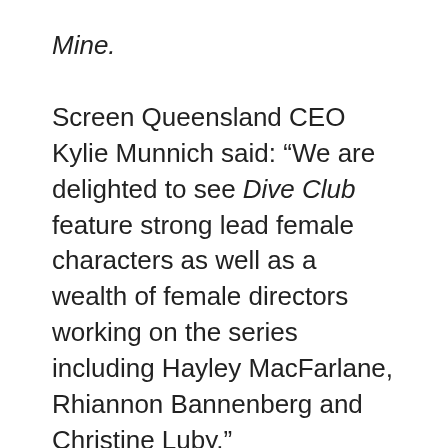Mine.
Screen Queensland CEO Kylie Munnich said: “We are delighted to see Dive Club feature strong lead female characters as well as a wealth of female directors working on the series including Hayley MacFarlane, Rhiannon Bannenberg and Christine Luby.”
Producer Spencer McLaren said the company’s decision to expand into TV series was a natural evolution for the brand, observing: “With more young adult and family audiences looking for